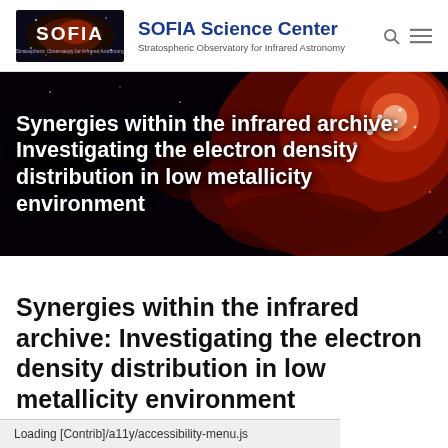SOFIA Science Center — Stratospheric Observatory for Infrared Astronomy
[Figure (photo): Hero banner with space nebula image (red glowing gas cloud with bright star clusters on black background) overlaid with white bold text reading: Synergies within the infrared archive: Investigating the electron density distribution in low metallicity environment]
Synergies within the infrared archive: Investigating the electron density distribution in low metallicity environment
Loading [Contrib]/a11y/accessibility-menu.js